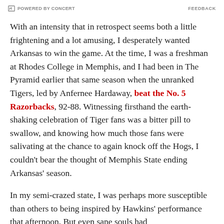POWERED BY CONCERT   FEEDBACK
With an intensity that in retrospect seems both a little frightening and a lot amusing, I desperately wanted Arkansas to win the game. At the time, I was a freshman at Rhodes College in Memphis, and I had been in The Pyramid earlier that same season when the unranked Tigers, led by Anfernee Hardaway, beat the No. 5 Razorbacks, 92-88. Witnessing firsthand the earth-shaking celebration of Tiger fans was a bitter pill to swallow, and knowing how much those fans were salivating at the chance to again knock off the Hogs, I couldn't bear the thought of Memphis State ending Arkansas' season.
In my semi-crazed state, I was perhaps more susceptible than others to being inspired by Hawkins' performance that afternoon. But even sane souls had